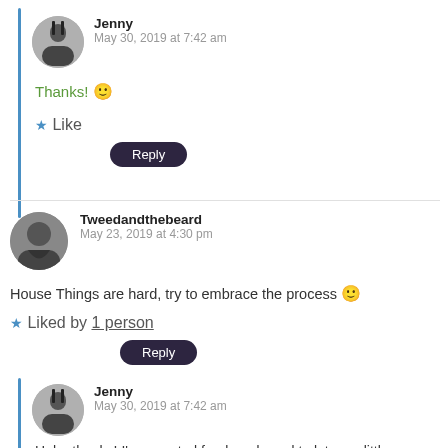Jenny
May 30, 2019 at 7:42 am
Thanks! 🙂
★ Like
Reply
Tweedandthebeard
May 23, 2019 at 4:30 pm
House Things are hard, try to embrace the process 🙂
★ Liked by 1 person
Reply
Jenny
May 30, 2019 at 7:42 am
Haha thanks! I'm a control freak and need to let go a little